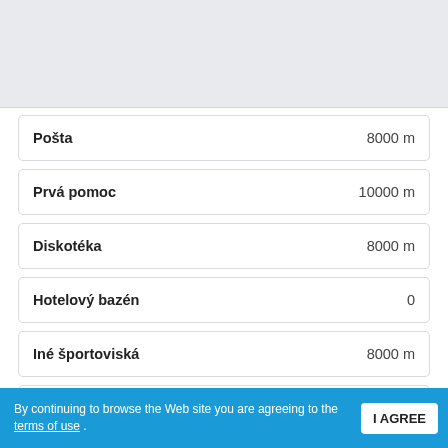[Figure (screenshot): Gray placeholder area at top of page]
Pošta    8000 m
Prvá pomoc    10000 m
Diskotéka    8000 m
Hotelový bazén    0
Iné športoviská    8000 m
Benzínka pre autá    9000 m
Reštaurácia    200 m
By continuing to browse the Web site you are agreeing to the terms of use .